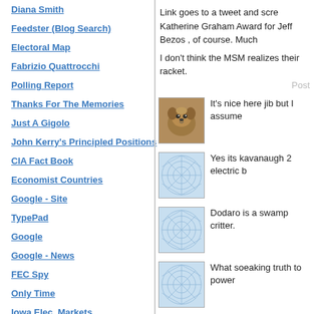Diana Smith
Feedster (Blog Search)
Electoral Map
Fabrizio Quattrocchi
Polling Report
Thanks For The Memories
Just A Gigolo
John Kerry's Principled Positions
CIA Fact Book
Economist Countries
Google - Site
TypePad
Google
Google - News
FEC Spy
Only Time
Iowa Elec. Markets
White House Press
Link goes to a tweet and scre Katherine Graham Award for  Jeff Bezos , of course. Much
I don't think the MSM realizes their racket.
Post
[Figure (photo): Small dog avatar photo]
It's nice here jib but I assume
[Figure (illustration): Blue web/network pattern placeholder avatar]
Yes its kavanaugh 2 electric b
[Figure (illustration): Blue web/network pattern placeholder avatar]
Dodaro is a swamp critter.
[Figure (illustration): Blue web/network pattern placeholder avatar]
What soeaking truth to power